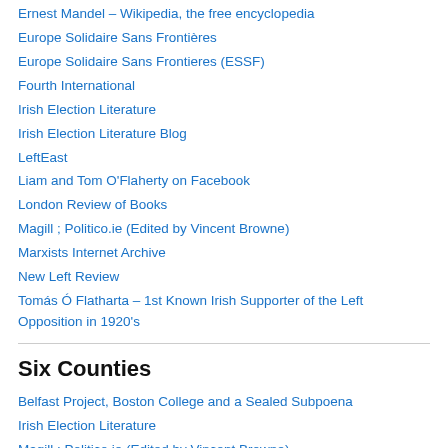Ernest Mandel – Wikipedia, the free encyclopedia
Europe Solidaire Sans Frontières
Europe Solidaire Sans Frontieres (ESSF)
Fourth International
Irish Election Literature
Irish Election Literature Blog
LeftEast
Liam and Tom O'Flaherty on Facebook
London Review of Books
Magill ; Politico.ie (Edited by Vincent Browne)
Marxists Internet Archive
New Left Review
Tomás Ó Flatharta – 1st Known Irish Supporter of the Left Opposition in 1920's
Six Counties
Belfast Project, Boston College and a Sealed Subpoena
Irish Election Literature
Magill ; Politico.ie (Edited by Vincent Browne)